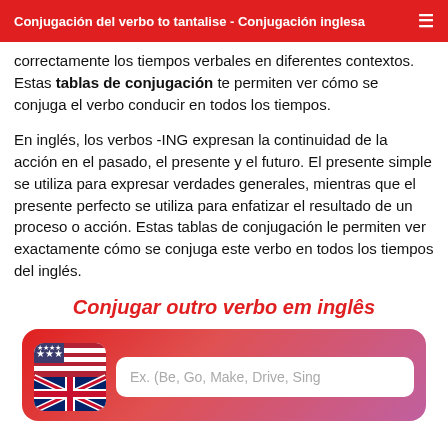Conjugación del verbo to tantalise - Conjugación inglesa
correctamente los tiempos verbales en diferentes contextos. Estas tablas de conjugación te permiten ver cómo se conjuga el verbo conducir en todos los tiempos.
En inglés, los verbos -ING expresan la continuidad de la acción en el pasado, el presente y el futuro. El presente simple se utiliza para expresar verdades generales, mientras que el presente perfecto se utiliza para enfatizar el resultado de un proceso o acción. Estas tablas de conjugación le permiten ver exactamente cómo se conjuga este verbo en todos los tiempos del inglés.
Conjugar outro verbo em inglês
[Figure (infographic): Search box area with US/UK flag icon on the left and a text input field on the right showing placeholder text 'Ex. (Be, Go, Make, Drive, Sing']